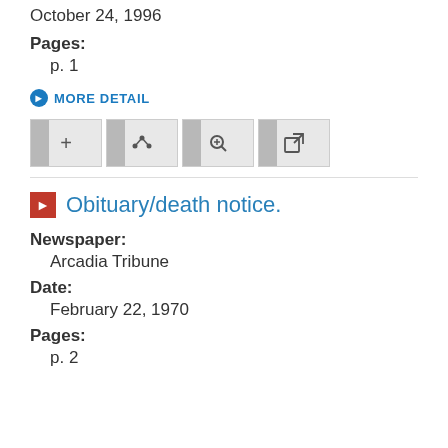October 24, 1996
Pages:
p. 1
MORE DETAIL
[Figure (other): Toolbar with four icon buttons: add (+), share, zoom, and external link]
Obituary/death notice.
Newspaper:
Arcadia Tribune
Date:
February 22, 1970
Pages:
p. 2